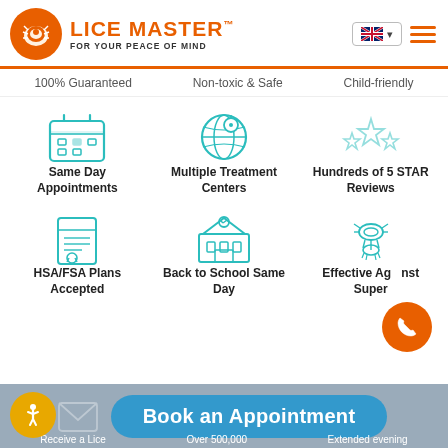[Figure (logo): Lice Master logo with orange louse icon and text 'LICE MASTER FOR YOUR PEACE OF MIND']
100% Guaranteed
Non-toxic & Safe
Child-friendly
[Figure (illustration): Calendar icon in teal outline style]
Same Day Appointments
[Figure (illustration): Globe with location pin icon in teal outline style]
Multiple Treatment Centers
[Figure (illustration): Five stars icon in teal outline style]
Hundreds of 5 STAR Reviews
[Figure (illustration): Certificate/document icon in teal outline style]
HSA/FSA Plans Accepted
[Figure (illustration): School building icon in teal outline style]
Back to School Same Day
[Figure (illustration): Louse/bug icon in teal outline style]
Effective Against Super
Book an Appointment
Receive a Lice
Over 500,000
Extended evening